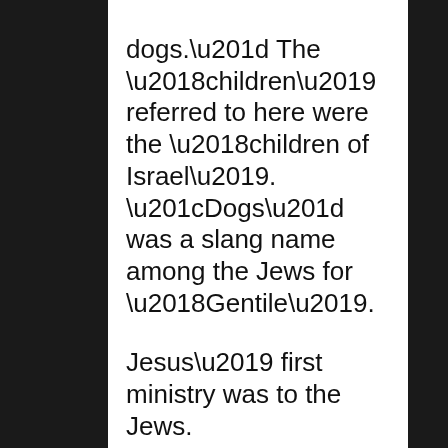dogs.” The ‘children’ referred to here were the ‘children of Israel’. “Dogs” was a slang name among the Jews for ‘Gentile’.
Jesus’ first ministry was to the Jews.
He did NOT teach that the Jews could be saved by trusting in their ability to